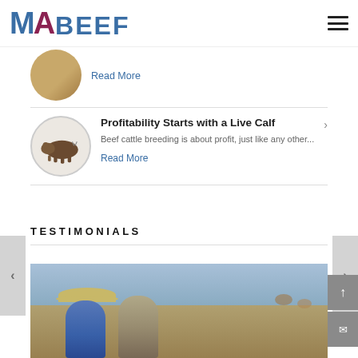MA BEEF
Read More
Profitability Starts with a Live Calf
Beef cattle breeding is about profit, just like any other...
Read More
TESTIMONIALS
[Figure (photo): Two men crouching in a field with cattle in the background]